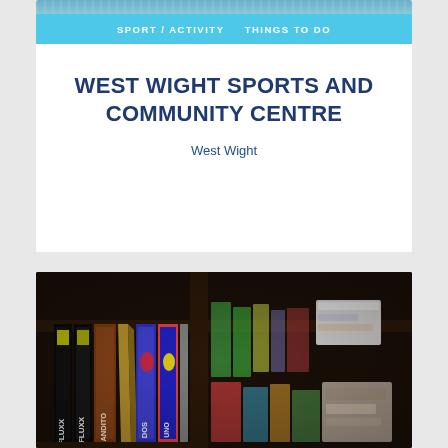SPORT / ACTIVITY   THINGS TO DO
WEST WIGHT SPORTS AND COMMUNITY CENTRE
West Wight
[Figure (photo): Photograph of a bookshelf containing board games including Fluxx, Bandito, Uno, and other colourful game boxes on dark wooden shelves]